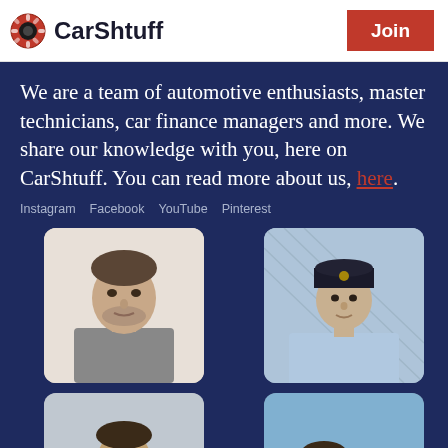[Figure (logo): CarShtuff logo with tire tread icon and bold text]
We are a team of automotive enthusiasts, master technicians, car finance managers and more. We share our knowledge with you, here on CarShtuff. You can read more about us, here.
Instagram   Facebook   YouTube   Pinterest
[Figure (photo): Headshot of a man with stubble, light background]
[Figure (photo): Headshot of a young man wearing a dark baseball cap, outdoor chain link fence background]
[Figure (photo): Man with sunglasses and crossed arms standing outdoors near a car]
[Figure (photo): Person crouching next to a dark sports car outdoors]